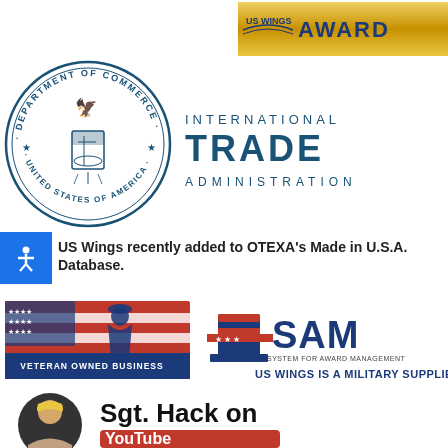[Figure (logo): US Wings Award banner/logo with gold background and text 'US WINGS AWARD']
[Figure (logo): Department of Commerce seal (circular blue seal with eagle, ship, and text 'Department of Commerce, United States of America') alongside International Trade Administration logo text]
US Wings recently added to OTEXA's Made in U.S.A. Database.
[Figure (logo): Veteran Owned Business logo (American flag with soldier silhouette) alongside SAM System for Award Management logo with text 'US WINGS IS A MILITARY SUPPLIER']
[Figure (photo): Circular photo of a person (Sgt. Hack) alongside text 'Sgt. Hack on YouTube']